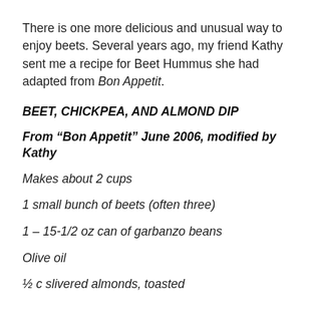There is one more delicious and unusual way to enjoy beets. Several years ago, my friend Kathy sent me a recipe for Beet Hummus she had adapted from Bon Appetit.
BEET, CHICKPEA, AND ALMOND DIP
From “Bon Appetit” June 2006, modified by Kathy
Makes about 2 cups
1 small bunch of beets (often three)
1 – 15-1/2 oz can of garbanzo beans
Olive oil
½ c slivered almonds, toasted